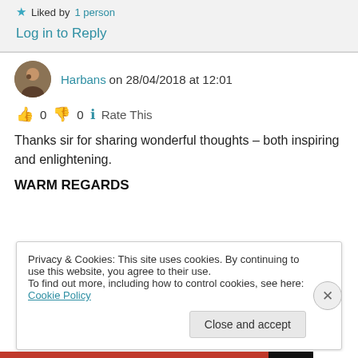★ Liked by 1 person
Log in to Reply
Harbans on 28/04/2018 at 12:01
👍 0 👎 0 ℹ Rate This
Thanks sir for sharing wonderful thoughts – both inspiring and enlightening.
WARM REGARDS
Privacy & Cookies: This site uses cookies. By continuing to use this website, you agree to their use.
To find out more, including how to control cookies, see here: Cookie Policy
Close and accept